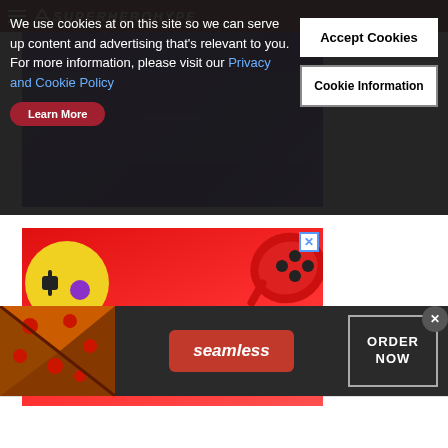[Figure (screenshot): SuperHeroHype website header with dark red background, hamburger menu icon, logo with triangle]
We use cookies at on this site so we can serve up content and advertising that's relevant to you. For more information, please visit our Privacy and Cookie Policy
[Figure (other): Accept Cookies button (white background, bold black text)]
[Figure (other): Cookie Information button (white background with border, black text)]
[Figure (other): Learn More button (red rounded button, white text)]
[Figure (screenshot): Advertisement banner with purple/dark background showing some game or media content]
[Figure (screenshot): Play Free Browser Games advertisement with red background, yellow face character, red game controller, bold white text reading PLAY FREE BROWSER GAMES]
[Figure (screenshot): Seamless food delivery advertisement with dark background, pizza image, seamless logo in red button, ORDER NOW in white bordered box]